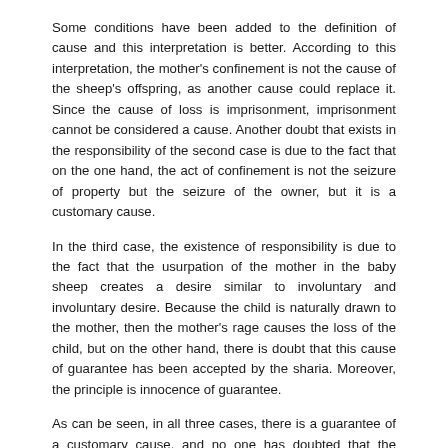Some conditions have been added to the definition of cause and this interpretation is better. According to this interpretation, the mother's confinement is not the cause of the sheep's offspring, as another cause could replace it. Since the cause of loss is imprisonment, imprisonment cannot be considered a cause. Another doubt that exists in the responsibility of the second case is due to the fact that on the one hand, the act of confinement is not the seizure of property but the seizure of the owner, but it is a customary cause.
In the third case, the existence of responsibility is due to the fact that the usurpation of the mother in the baby sheep creates a desire similar to involuntary and involuntary desire. Because the child is naturally drawn to the mother, then the mother's rage causes the loss of the child, but on the other hand, there is doubt that this cause of guarantee has been accepted by the sharia. Moreover, the principle is innocence of guarantee.
As can be seen, in all three cases, there is a guarantee of a customary cause, and no one has doubted that the existing cause is customary. There is a doubt that the realm is the cause of guaranteeing something more than its customary realm, that is, the lexical realm of the word